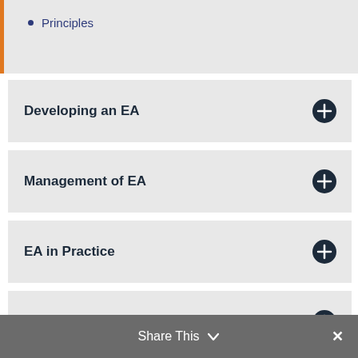Principles
Developing an EA
Management of EA
EA in Practice
Perspectives on EA
Governance
Glossary
Share This ∨  ✕